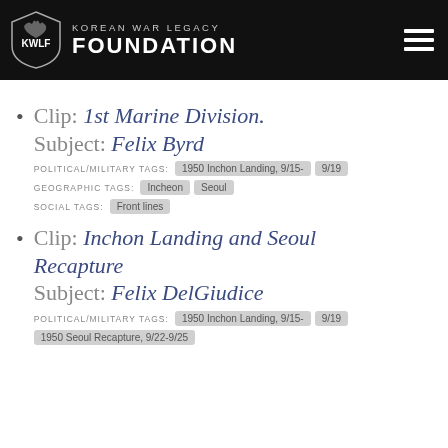Korean War Legacy Foundation
Clip: 1st Marine Division. Subject: Felix Byrd. POLITICAL/MILITARY TAGS: 1950 Inchon Landing, 9/15-9/19. GEOGRAPHIC TAGS: Incheon, Seoul. SOCIAL TAGS: Front lines
Clip: Inchon Landing and Seoul Recapture. Subject: Felix DelGiudice. POLITICAL/MILITARY TAGS: 1950 Inchon Landing, 9/15-9/19  1950 Seoul Recapture, 9/22-9/25